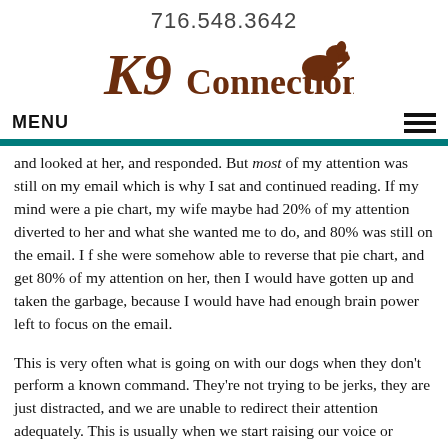716.548.3642
[Figure (logo): K9 Connection logo with stylized text and dog silhouette]
MENU
and looked at her, and responded. But most of my attention was still on my email which is why I sat and continued reading. If my mind were a pie chart, my wife maybe had 20% of my attention diverted to her and what she wanted me to do, and 80% was still on the email. I f she were somehow able to reverse that pie chart, and get 80% of my attention on her, then I would have gotten up and taken the garbage, because I would have had enough brain power left to focus on the email.
This is very often what is going on with our dogs when they don't perform a known command. They're not trying to be jerks, they are just distracted, and we are unable to redirect their attention adequately. This is usually when we start raising our voice or yanking on a leash. This of course does not solve the problem. Likewise,